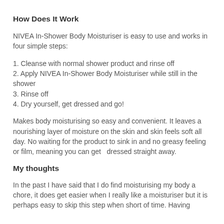How Does It Work
NIVEA In-Shower Body Moisturiser is easy to use and works in four simple steps:
1. Cleanse with normal shower product and rinse off
2. Apply NIVEA In-Shower Body Moisturiser while still in the shower
3. Rinse off
4. Dry yourself, get dressed and go!
Makes body moisturising so easy and convenient. It leaves a nourishing layer of moisture on the skin and skin feels soft all day. No waiting for the product to sink in and no greasy feeling or film, meaning you can get   dressed straight away.
My thoughts
In the past I have said that I do find moisturising my body a chore, it does get easier when I really like a moisturiser but it is perhaps easy to skip this step when short of time. Having